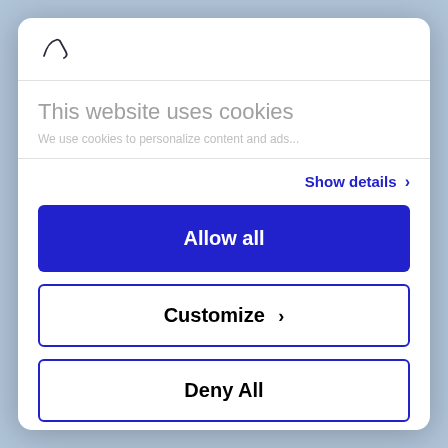[Figure (logo): Handwritten-style signature or logo mark in dark ink]
This website uses cookies
We use cookies to personalize content and ads...
Show details >
Allow all
Customize >
Deny All
Powered by Cookiebot by Usercentrics